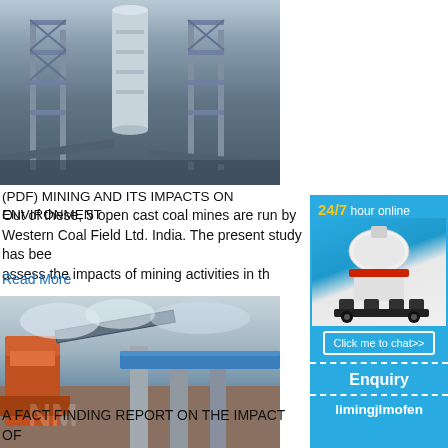[Figure (photo): Industrial mining/processing plant with large cylindrical silo structure and metal scaffolding, taken against a blue sky]
(PDF) MINING AND ITS IMPACTS ON ENVIRONMENT
Out of these, 5 open cast coal mines are run by Western Coal Field Ltd. India. The present study has been to assess the impacts of mining activities in th
Read More
[Figure (photo): Mining site with heavy machinery including what appears to be a crusher or excavator, with blue industrial structures and a muted sky background. NM watermark visible.]
[Figure (other): Advertisement sidebar: 24/7 hour online service with image of white cone crusher machine, Click me to chat>> button, Enquiry section, and limingjlmofen branding]
A FACT FINDING REPORT ON THE IMPACT OF 2018-6-1    There are alternative energy so which will allow India's last remaining fores